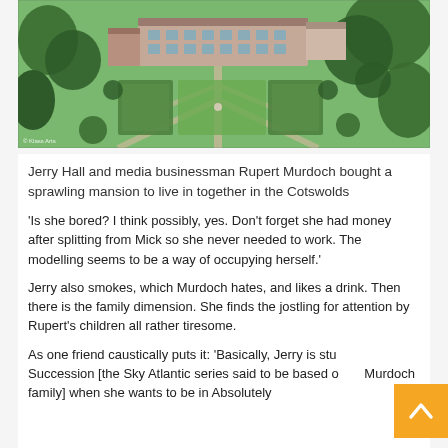[Figure (photo): Aerial photograph of a sprawling English country mansion with formal gardens, hedgerows, and surrounding trees in the Cotswolds]
Jerry Hall and media businessman Rupert Murdoch bought a sprawling mansion to live in together in the Cotswolds
‘Is she bored? I think possibly, yes. Don’t forget she had money after splitting from Mick so she never needed to work. The modelling seems to be a way of occupying herself.’
Jerry also smokes, which Murdoch hates, and likes a drink. Then there is the family dimension. She finds the jostling for attention by Rupert’s children all rather tiresome.
As one friend caustically puts it: ‘Basically, Jerry is stu… Succession [the Sky Atlantic series said to be based o… Murdoch family] when she wants to be in Absolutely